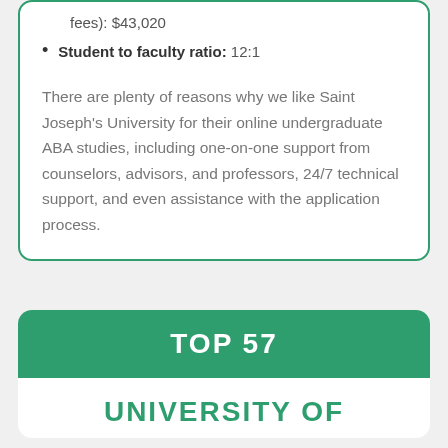fees): $43,020
Student to faculty ratio: 12:1
There are plenty of reasons why we like Saint Joseph's University for their online undergraduate ABA studies, including one-on-one support from counselors, advisors, and professors, 24/7 technical support, and even assistance with the application process.
TOP 57
UNIVERSITY OF